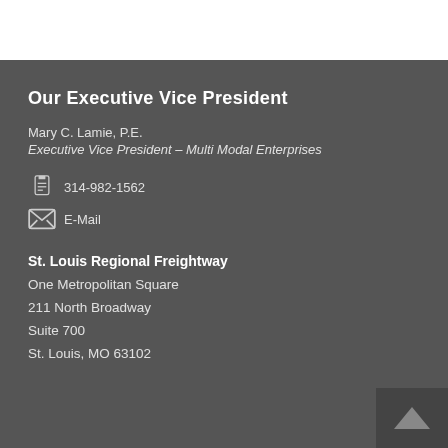Our Executive Vice President
Mary C. Lamie, P.E.
Executive Vice President – Multi Modal Enterprises
314-982-1562
E-Mail
St. Louis Regional Freightway
One Metropolitan Square
211 North Broadway
Suite 700
St. Louis, MO 63102